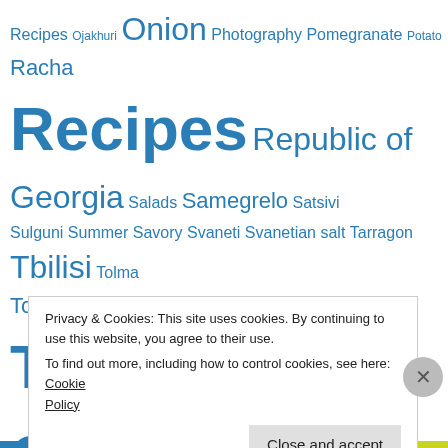Recipes Ojakhuri Onion Photography Pomegranate Potato Racha Recipes Republic of Georgia Salads Samegrelo Satsivi Sulguni Summer Savory Svaneti Svanetian salt Tarragon Tbilisi Tolma Tourist Information Traditional Georgian Recipes Traditional Georgian Wine-Making Travel Vegan Recipes Vegetarian Recipes Vinegar Walnut Walnut Dishes Wine აჯიკა ლობიო მეგრული სამზარეულო რაფული სამზარეულო ქართული჻ cookbook
Privacy & Cookies: This site uses cookies. By continuing to use this website, you agree to their use. To find out more, including how to control cookies, see here: Cookie Policy
Close and accept